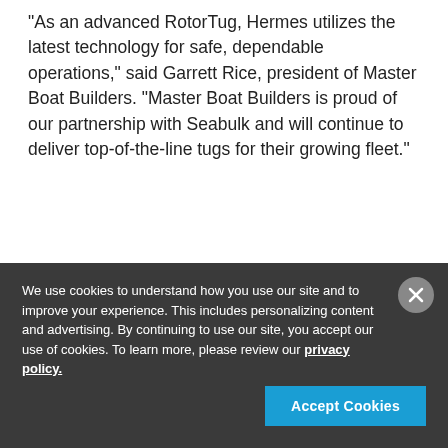"As an advanced RotorTug, Hermes utilizes the latest technology for safe, dependable operations," said Garrett Rice, president of Master Boat Builders. "Master Boat Builders is proud of our partnership with Seabulk and will continue to deliver top-of-the-line tugs for their growing fleet."
We use cookies to understand how you use our site and to improve your experience. This includes personalizing content and advertising. By continuing to use our site, you accept our use of cookies. To learn more, please review our privacy policy.